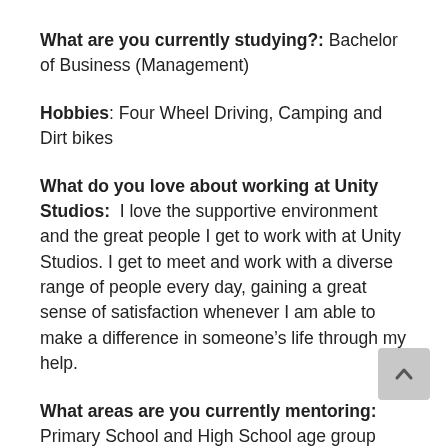What are you currently studying?: Bachelor of Business (Management)
Hobbies: Four Wheel Driving, Camping and Dirt bikes
What do you love about working at Unity Studios: I love the supportive environment and the great people I get to work with at Unity Studios. I get to meet and work with a diverse range of people every day, gaining a great sense of satisfaction whenever I am able to make a difference in someone’s life through my help.
What areas are you currently mentoring: Primary School and High School age group